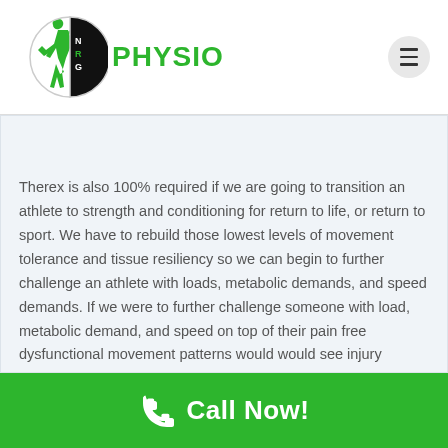[Figure (logo): NRG Physio logo with green athlete figure and black/white circular badge with NRG text, followed by green PHYSIO text]
Therex is also 100% required if we are going to transition an athlete to strength and conditioning for return to life, or return to sport. We have to rebuild those lowest levels of movement tolerance and tissue resiliency so we can begin to further challenge an athlete with loads, metabolic demands, and speed demands. If we were to further challenge someone with load, metabolic demand, and speed on top of their pain free dysfunctional movement patterns would would see injury emerge again and again.
Call Now!